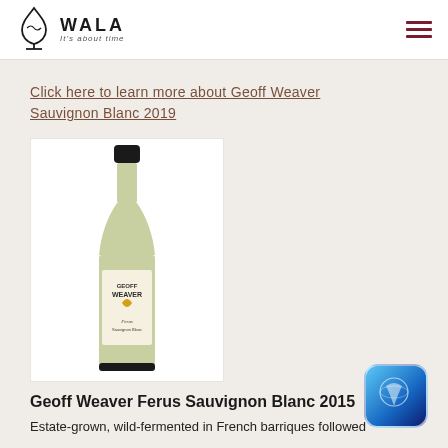WALA It's about time
Click here to learn more about Geoff Weaver Sauvignon Blanc 2019
[Figure (photo): Wine bottle of Geoff Weaver Ferus Sauvignon Blanc 2015, white wine with yellow label featuring Geoff Weaver branding]
Geoff Weaver Ferus Sauvignon Blanc 2015
Estate-grown, wild-fermented in French barriques followed